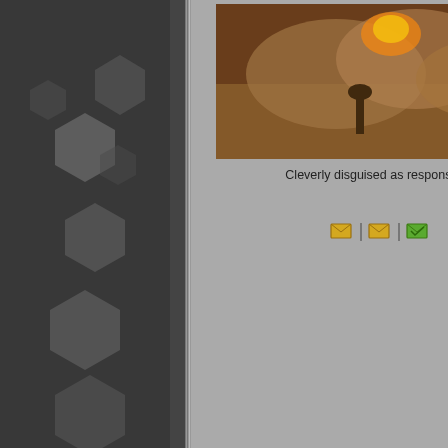[Figure (illustration): Dark sidebar with hexagonal pattern decorations in gray tones on dark background]
[Figure (photo): Game screenshot showing explosive action scene with fire and smoke in brown/orange tones]
Cleverly disguised as responsible adults
[Figure (infographic): Three small envelope icons (yellow, yellow, green) separated by pipe characters]
[Figure (photo): Large game screenshot showing armored character near rusted VACANCY sign, partially cropped on right]